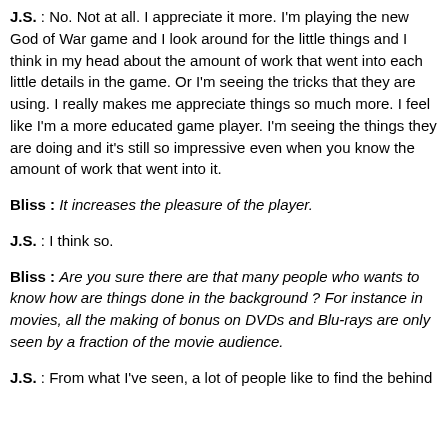J.S. : No. Not at all. I appreciate it more. I'm playing the new God of War game and I look around for the little things and I think in my head about the amount of work that went into each little details in the game. Or I'm seeing the tricks that they are using. I really makes me appreciate things so much more. I feel like I'm a more educated game player. I'm seeing the things they are doing and it's still so impressive even when you know the amount of work that went into it.
Bliss : It increases the pleasure of the player.
J.S. : I think so.
Bliss : Are you sure there are that many people who wants to know how are things done in the background ? For instance in movies, all the making of bonus on DVDs and Blu-rays are only seen by a fraction of the movie audience.
J.S. : From what I've seen, a lot of people like to find the behind